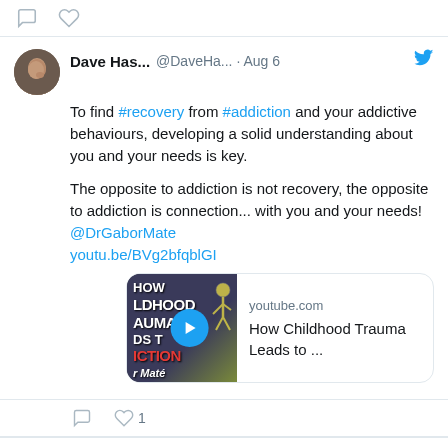[Figure (screenshot): Top bar with comment and heart icons from previous tweet]
Dave Has... @DaveHa... · Aug 6
To find #recovery from #addiction and your addictive behaviours, developing a solid understanding about you and your needs is key.

The opposite to addiction is not recovery, the opposite to addiction is connection... with you and your needs!
@DrGaborMate
youtu.be/BVg2bfqblGI
[Figure (screenshot): YouTube video thumbnail card: 'How Childhood Trauma Leads to ...' from youtube.com with play button overlay]
1 like